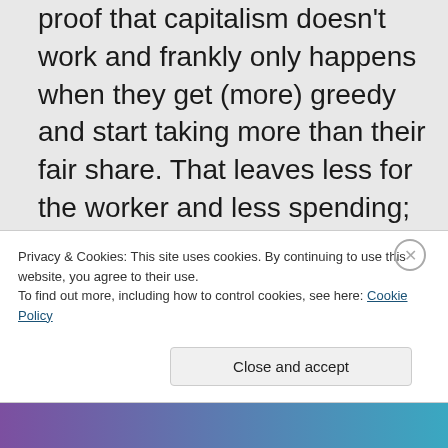proof that capitalism doesn't work and frankly only happens when they get (more) greedy and start taking more than their fair share. That leaves less for the worker and less spending; they get worried and dive in
Privacy & Cookies: This site uses cookies. By continuing to use this website, you agree to their use. To find out more, including how to control cookies, see here: Cookie Policy
Close and accept